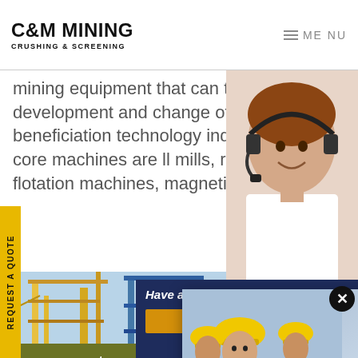C&M MINING CRUSHING & SCREENING
mining equipment that can trigger the development and change of the beneficiation technology industry.The main core machines are ll mills, rod mills, flotation machines, magnetic parator
REQUEST A QUOTE
[Figure (screenshot): Live chat popup overlay with workers in yellow hard hats, LIVE CHAT heading in red italic, 'Click for a Free Consultation' subtitle, Chat now (red) and Chat later (dark) buttons, close X button]
[Figure (photo): Customer service representative with headset on right side]
equest
[Figure (photo): Industrial mining facility with cranes and steel structure against blue sky]
Have any requests, click here.
Quotation